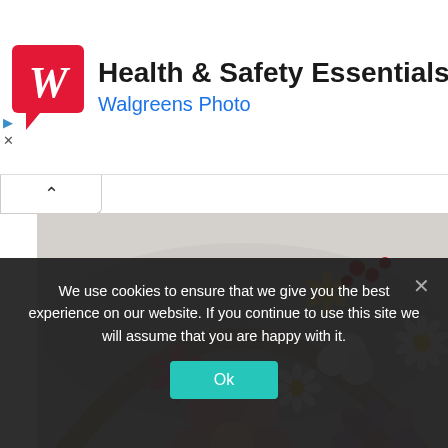[Figure (logo): Walgreens Health & Safety Essentials advertisement banner with Walgreens red W logo on red speech bubble, title 'Health & Safety Essentials', subtitle 'Walgreens Photo', and a blue navigation diamond icon on the right]
[Figure (photo): Overhead close-up photo of a floral wreath made with dried and fresh flowers including daisies, pink ranunculus, white pompoms, yellow flowers, and red berries on a light gray background]
[Figure (photo): Partial view of a second photo showing a flat lay on gray background with a small notebook and dried flowers]
We use cookies to ensure that we give you the best experience on our website. If you continue to use this site we will assume that you are happy with it.